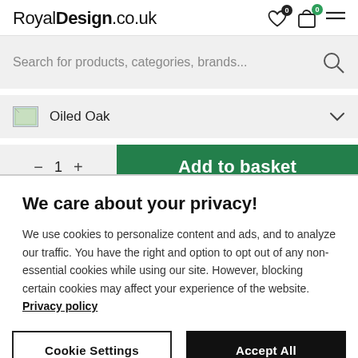RoyalDesign.co.uk
Search for products, categories, brands...
Oiled Oak
1  Add to basket
We care about your privacy!
We use cookies to personalize content and ads, and to analyze our traffic. You have the right and option to opt out of any non-essential cookies while using our site. However, blocking certain cookies may affect your experience of the website. Privacy policy
Cookie Settings
Accept All Cookies